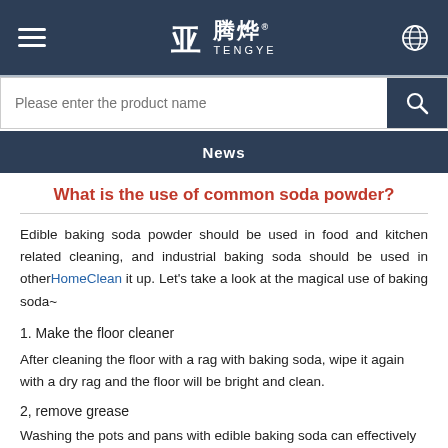TENGYE 腾烨 — Navigation header with hamburger menu, logo, and globe icon
Please enter the product name
News
What is the use of common soda powder?
Edible baking soda powder should be used in food and kitchen related cleaning, and industrial baking soda should be used in otherHomeClean it up. Let's take a look at the magical use of baking soda~
1. Make the floor cleaner
After cleaning the floor with a rag with baking soda, wipe it again with a dry rag and the floor will be bright and clean.
2, remove grease
Washing the pots and pans with edible baking soda can effectively...